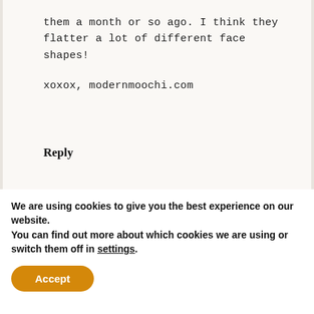them a month or so ago. I think they flatter a lot of different face shapes!

xoxox, modernmoochi.com
Reply
[Figure (photo): Avatar photo of Jenica Parcell, a young woman with long brown hair wearing a pink top and a statement necklace]
jenica parcell says
SEPTEMBER 22, 2017 AT 4:13 PM
We are using cookies to give you the best experience on our website.
You can find out more about which cookies we are using or switch them off in settings.